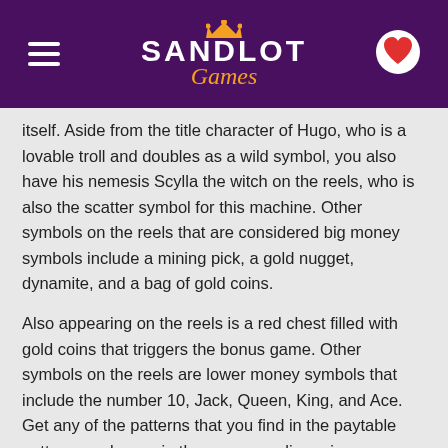SANDLOT Games
itself. Aside from the title character of Hugo, who is a lovable troll and doubles as a wild symbol, you also have his nemesis Scylla the witch on the reels, who is also the scatter symbol for this machine. Other symbols on the reels that are considered big money symbols include a mining pick, a gold nugget, dynamite, and a bag of gold coins.
Also appearing on the reels is a red chest filled with gold coins that triggers the bonus game. Other symbols on the reels are lower money symbols that include the number 10, Jack, Queen, King, and Ace. Get any of the patterns that you find in the paytable patterns and you win the corresponding prize.
BONUS ROUNDS